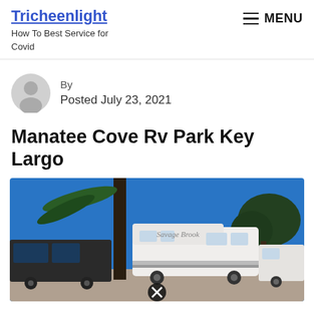Tricheenlight
How To Best Service for Covid
By
Posted July 23, 2021
Manatee Cove Rv Park Key Largo
[Figure (photo): RV park scene with multiple RVs including a large Sandpiper fifth-wheel trailer, a palm tree, and trees against a bright blue sky. A close button (X) overlay is visible at the bottom center.]